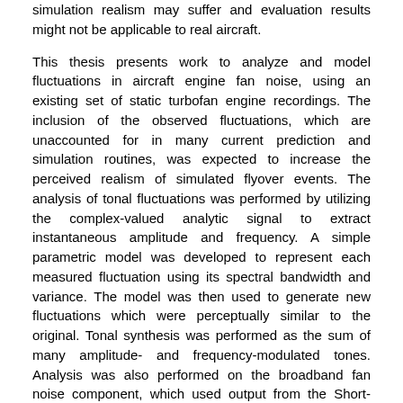simulation realism may suffer and evaluation results might not be applicable to real aircraft.
This thesis presents work to analyze and model fluctuations in aircraft engine fan noise, using an existing set of static turbofan engine recordings. The inclusion of the observed fluctuations, which are unaccounted for in many current prediction and simulation routines, was expected to increase the perceived realism of simulated flyover events. The analysis of tonal fluctuations was performed by utilizing the complex-valued analytic signal to extract instantaneous amplitude and frequency. A simple parametric model was developed to represent each measured fluctuation using its spectral bandwidth and variance. The model was then used to generate new fluctuations which were perceptually similar to the original. Tonal synthesis was performed as the sum of many amplitude- and frequency-modulated tones. Analysis was also performed on the broadband fan noise component, which used output from the Short-Time Fourier Transform was used to characterize fluctuations in third-octave band SPL. Those fluctuations were not modeled as in the case of tonal fluctuations and were directly reproduced using an overlap-add synthesis tool.